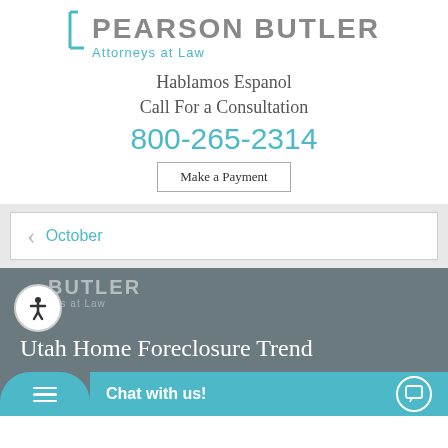[Figure (logo): Pearson Butler Attorneys at Law logo with bracket and teal underline]
Hablamos Espanol
Call For a Consultation
800-265-2314
Make a Payment
October
[Figure (photo): Pearson Butler law office exterior with overlaid text 'Utah Home Foreclosure Trend']
Chat with us!